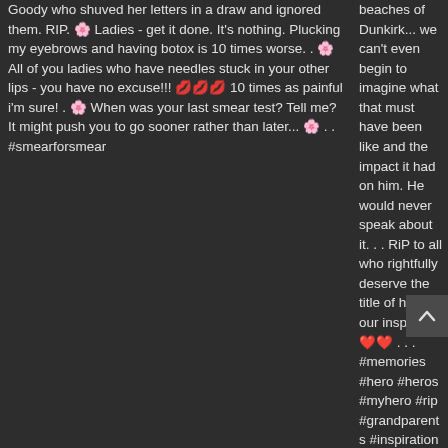Goody who shuved her letters in a draw and ignored them. RIP. 🌸 Ladies - get it done. It's nothing. Plucking my eyebrows and having botox is 10 times worse. . 🌸 All of you ladies who have needles stuck in your other lips - you have no excuse!!! 💋💋💋 10 times as painful i'm sure! . 🌸 When was your last smear test? Tell me? It might push you to go sooner rather than later... 🌸 . . #smearforsmear
beaches of Dunkirk... we can't even begin to imagine what that must have been like and the impact it had on him. He would never speak about it. . . RiP to all who rightfully deserve the title of hero - our inspiration ❤️❤️ . . . #memories #hero #heros #myhero #rip #grandparents #inspiration #lovedones #life #love #marriage #oldschool #family #grandad #grandma #respect